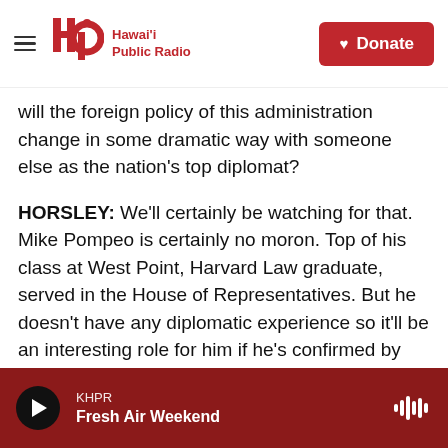Hawai'i Public Radio — Donate
will the foreign policy of this administration change in some dramatic way with someone else as the nation's top diplomat?
HORSLEY: We'll certainly be watching for that. Mike Pompeo is certainly no moron. Top of his class at West Point, Harvard Law graduate, served in the House of Representatives. But he doesn't have any diplomatic experience so it'll be an interesting role for him if he's confirmed by the Senate.
GREENE: Well, we're going to spend a lot more time talking about Pompeo and what maybe to expect. But let me just ask you before we do that about his
KHPR — Fresh Air Weekend